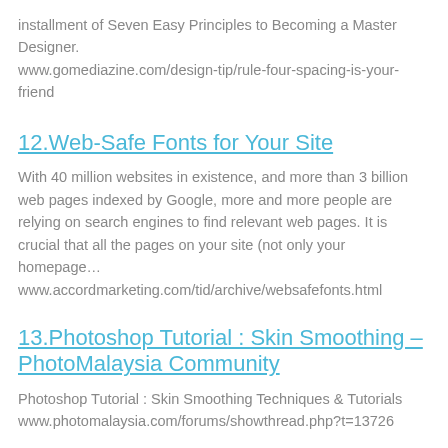installment of Seven Easy Principles to Becoming a Master Designer.
www.gomediazine.com/design-tip/rule-four-spacing-is-your-friend
12.Web-Safe Fonts for Your Site
With 40 million websites in existence, and more than 3 billion web pages indexed by Google, more and more people are relying on search engines to find relevant web pages. It is crucial that all the pages on your site (not only your homepage…
www.accordmarketing.com/tid/archive/websafefonts.html
13.Photoshop Tutorial : Skin Smoothing – PhotoMalaysia Community
Photoshop Tutorial : Skin Smoothing Techniques & Tutorials
www.photomalaysia.com/forums/showthread.php?t=13726